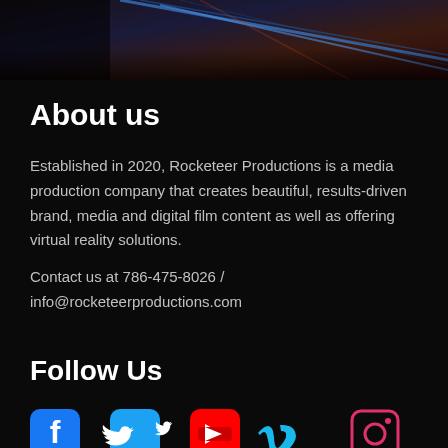[Figure (photo): Dark hero image with blue and orange/red streaks on dark background, partial view of a figure on the left]
About us
Established in 2020, Rocketeer Productions is a media production company that creates beautiful, results-driven brand, media and digital film content as well as offering virtual reality solutions.
Contact us at 786-475-8026 / info@rocketeerproductions.com
Follow Us
[Figure (infographic): Social media icons row: Facebook (blue), Twitter (cyan/blue), YouTube (red), Vimeo (cyan), Instagram (pink/red circle outline)]